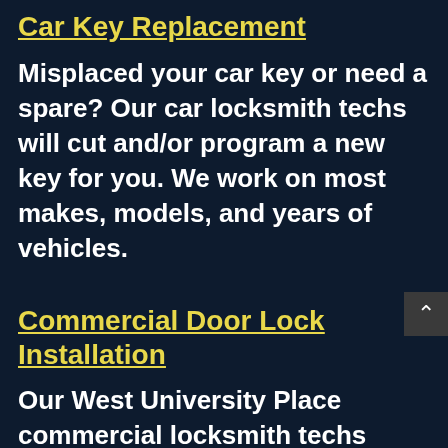Car Key Replacement
Misplaced your car key or need a spare? Our car locksmith techs will cut and/or program a new key for you. We work on most makes, models, and years of vehicles.
Commercial Door Lock Installation
Our West University Place commercial locksmith techs install any lock for your glass or